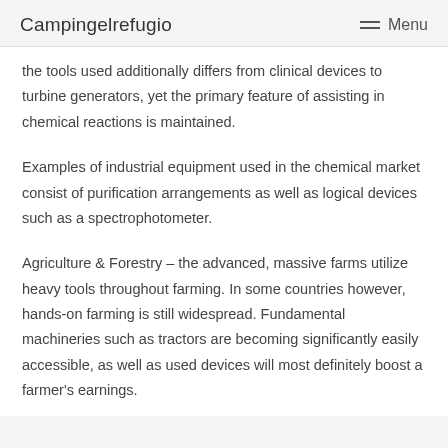Campingelrefugio   Menu
the tools used additionally differs from clinical devices to turbine generators, yet the primary feature of assisting in chemical reactions is maintained.
Examples of industrial equipment used in the chemical market consist of purification arrangements as well as logical devices such as a spectrophotometer.
Agriculture & Forestry – the advanced, massive farms utilize heavy tools throughout farming. In some countries however, hands-on farming is still widespread. Fundamental machineries such as tractors are becoming significantly easily accessible, as well as used devices will most definitely boost a farmer's earnings.